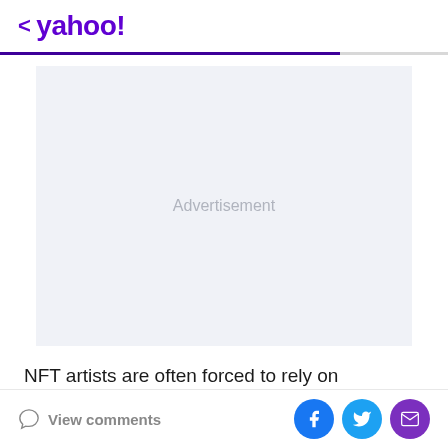< yahoo!
[Figure (other): Advertisement placeholder box with light gray background and 'Advertisement' text centered]
NFT artists are often forced to rely on centralized places like Twitter or OpenSea to sell their work, the paper says,
View comments | Facebook share | Twitter share | Email share